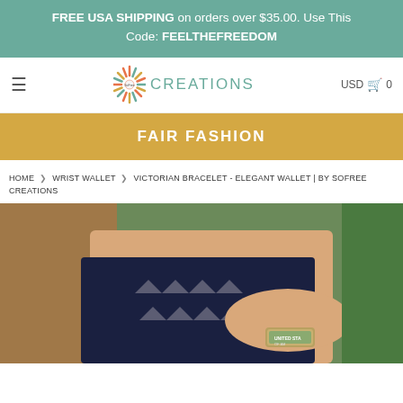FREE USA SHIPPING on orders over $35.00. Use This Code: FEELTHEFREEDOM
[Figure (logo): SoFree Creations logo with colorful sunburst and CREATIONS text, navigation bar with hamburger menu, USD and cart icons]
FAIR FASHION
HOME > WRIST WALLET > VICTORIAN BRACELET - ELEGANT WALLET | BY SOFREE CREATIONS
[Figure (photo): Close-up photo of a woman wearing a dark navy sleeveless top with cutout details, holding a wrist wallet bracelet on her wrist with US dollar bills visible inside]